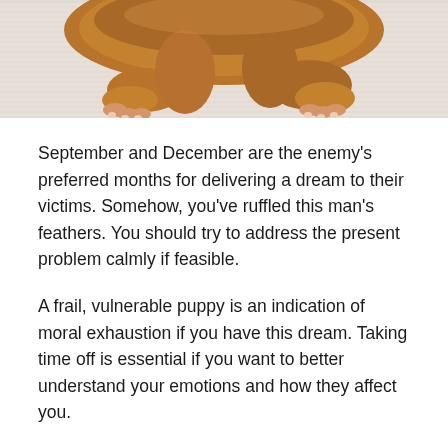[Figure (photo): Close-up photo of a brown/tan puppy lying on a light-colored striped rug or mat, showing its paws and lower body]
September and December are the enemy's preferred months for delivering a dream to their victims. Somehow, you've ruffled this man's feathers. You should try to address the present problem calmly if feasible.
A frail, vulnerable puppy is an indication of moral exhaustion if you have this dream. Taking time off is essential if you want to better understand your emotions and how they affect you.
In reality, a dog given to you in a dream is a distraction. Keep a mental note of who gifted it to